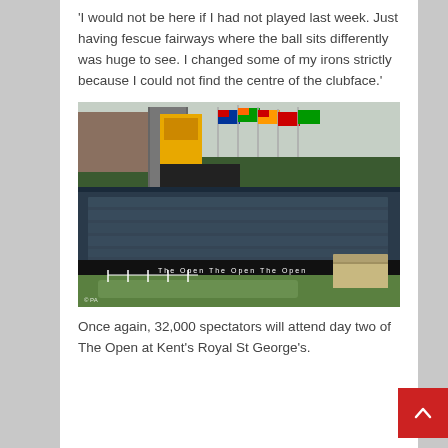'I would not be here if I had not played last week. Just having fescue fairways where the ball sits differently was huge to see. I changed some of my irons strictly because I could not find the centre of the clubface.'
[Figure (photo): Aerial view of The Open golf tournament at Royal St George's, showing large grandstands filled with spectators, flags of various nations, a scoreboard, and the golf course fairway in the foreground.]
Once again, 32,000 spectators will attend day two of The Open at Kent's Royal St George's.